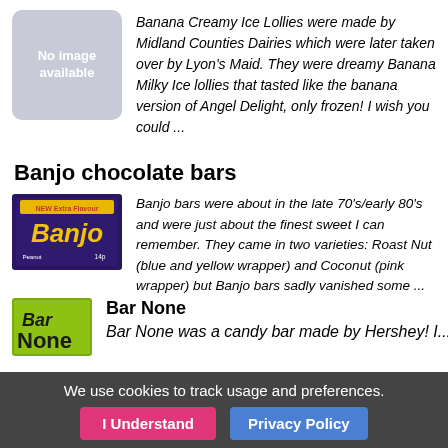[Figure (photo): Grey placeholder box with text 'No image available']
Banana Creamy Ice Lollies were made by Midland Counties Dairies which were later taken over by Lyon's Maid. They were dreamy Banana Milky Ice lollies that tasted like the banana version of Angel Delight, only frozen! I wish you could ...
Banjo chocolate bars
[Figure (photo): Banjo Peanut chocolate bar package - dark purple with yellow text, labeled 'NEW Extra Flavour', '14p']
Banjo bars were about in the late 70's/early 80's and were just about the finest sweet I can remember. They came in two varieties: Roast Nut (blue and yellow wrapper) and Coconut (pink wrapper) but Banjo bars sadly vanished some ...
[Figure (photo): Bar None candy bar package partial view, green and dark background]
Bar None
Bar None was a candy bar made by Hershey! I...
We use cookies to track usage and preferences.